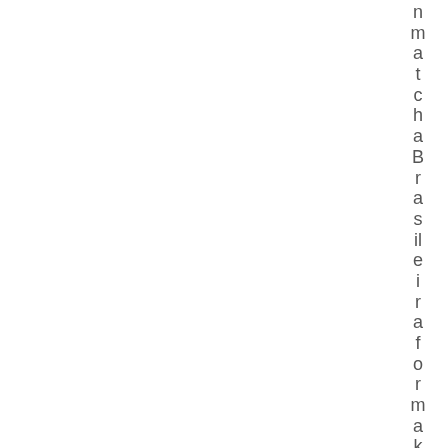nmatchaBrasileiraformakingyo ufe